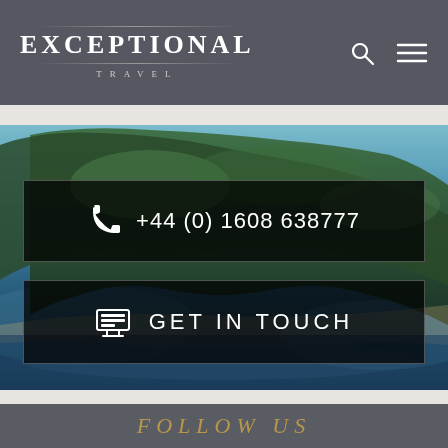EXCEPTIONAL TRAVEL
+44 (0) 1608 638777
GET IN TOUCH
FOLLOW US